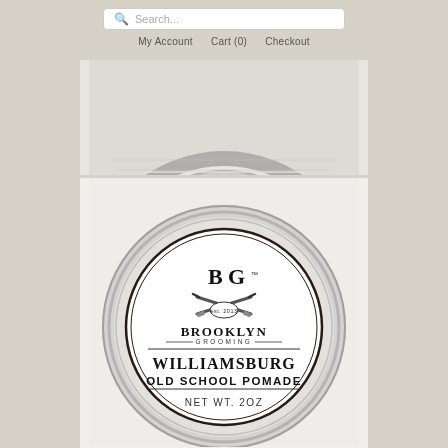Search...  My Account  Cart (0)  Checkout
[Figure (photo): Top partial view of a round metal tin lid from above, showing the brushed silver rim and edge, cropped so only the top arc is visible]
[Figure (photo): Full product photo of Brooklyn Grooming Williamsburg Old School Pomade tin, 2oz, showing the round silver metal can with the BG logo (crossed straight razors), Brooklyn Grooming brand name, Williamsburg Old School Pomade text, and NET WT. 2OZ at bottom]